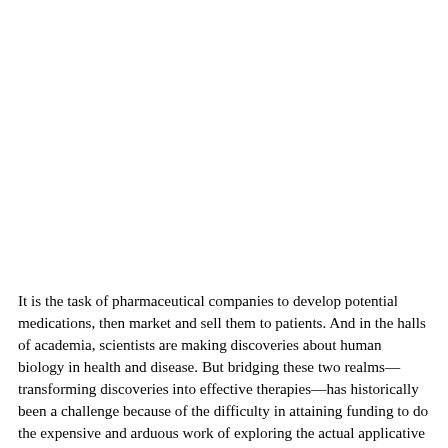It is the task of pharmaceutical companies to develop potential medications, then market and sell them to patients. And in the halls of academia, scientists are making discoveries about human biology in health and disease. But bridging these two realms—transforming discoveries into effective therapies—has historically been a challenge because of the difficulty in attaining funding to do the expensive and arduous work of exploring the actual applicative potential of compounds.